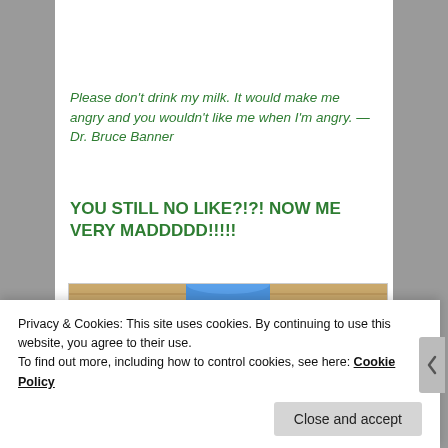Please don't drink my milk. It would make me angry and you wouldn't like me when I'm angry. —Dr. Bruce Banner
YOU STILL NO LIKE?!?! NOW ME VERY MADDDDD!!!!!
[Figure (photo): Photo of a white plastic milk bottle with a blue cap, placed against a wooden background]
Privacy & Cookies: This site uses cookies. By continuing to use this website, you agree to their use.
To find out more, including how to control cookies, see here: Cookie Policy